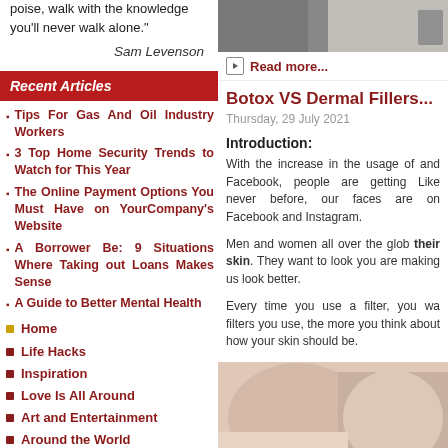poise, walk with the knowledge you'll never walk alone."
Sam Levenson
Recent Articles
Tips For Gas And Oil Industry Workers
3 Top Home Security Trends to Watch for This Year
The Online Payment Options You Must Have on YourCompany's Website
A Borrower Be: 9 Situations Where Taking out Loans Makes Sense
A Guide to Better Mental Health
Home
Life Hacks
Inspiration
Love Is All Around
Art and Entertainment
Around the World
AmO Reviews
Healthy Lifestyle
[Figure (photo): Top portion of a photo, appears to show a kitchen or interior space]
Read more...
Botox VS Dermal Fillers...
Thursday, 29 July 2021
Introduction:
With the increase in the usage of and Facebook, people are getting Like never before, our faces are on Facebook and Instagram.
Men and women all over the glob their skin. They want to look you are making us look better.
Every time you use a filter, you wa filters you use, the more you think about how your skin should be.
[Figure (photo): A photo showing what appears to be a gloved hand or arm in medical/cosmetic context]